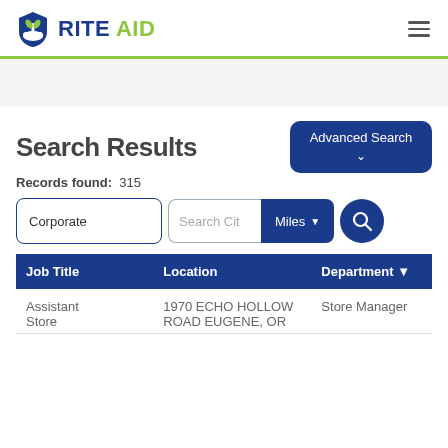Rite Aid
Search Results
Records found: 315
| Job Title | Location | Department |
| --- | --- | --- |
| Assistant Store | 1970 ECHO HOLLOW ROAD EUGENE, OR | Store Manager |